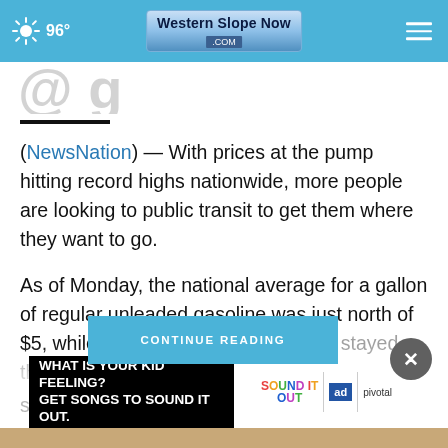96° | Western Slope Now .com
(partial title visible at top)
(NewsNation) — With prices at the pump hitting record highs nationwide, more people are looking to public transit to get them where they want to go.
As of Monday, the national average for a gallon of regular unleaded gasoline was just north of $5, while bus and subway [fares] stayed the same. Nation[al average fares]
[Figure (screenshot): CONTINUE READING button overlay in blue]
[Figure (screenshot): Close (X) circular button in dark gray]
[Figure (screenshot): Advertisement banner: 'What is your kid feeling? Get songs to sound it out.' with Sound It Out branding, Ad Council logo, and Pivotal logo]